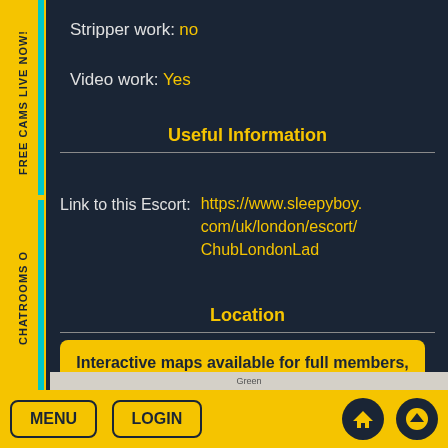FREE CAMS LIVE NOW!
Chatrooms o
Stripper work: no
Video work: Yes
Useful Information
Link to this Escort: https://www.sleepyboy.com/uk/london/escort/ChubLondonLad
Location
Interactive maps available for full members, upgrade now!
[Figure (map): Partial map strip at bottom of page]
MENU  LOGIN